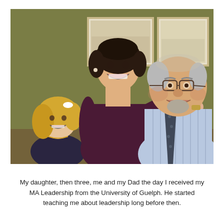[Figure (photo): A family photo showing three people: a young girl (around age three) with blonde hair and a bow, smiling on the left; a woman in a dark purple/maroon sleeveless dress in the center, smiling; and an older heavyset man on the right wearing glasses, a light blue striped shirt, and a dark tie. The man has his arm around the woman. Background shows an olive/khaki green wall with two framed artworks. The photo has a casual, celebratory atmosphere.]
My daughter, then three, me and my Dad the day I received my MA Leadership from the University of Guelph. He started teaching me about leadership long before then.